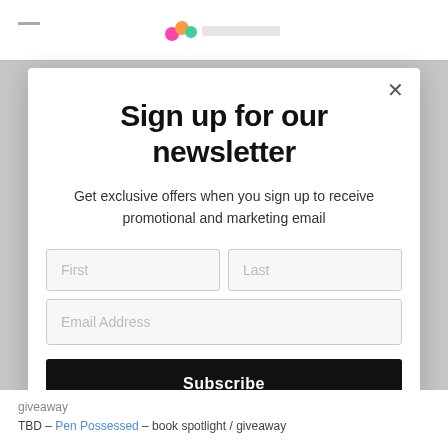[Figure (screenshot): Newsletter signup modal popup over a website. The modal has a title 'Sign up for our newsletter', subtitle text, two input fields (First, Last), one email address field, and a Subscribe button.]
Sign up for our newsletter
Get exclusive offers when you sign up to receive promotional and marketing email
First
Last
Email Address
Subscribe
giveaway
TBD – Pen Possessed – book spotlight / giveaway